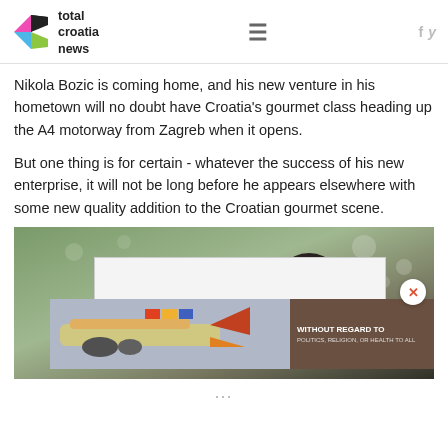total croatia news
Nikola Bozic is coming home, and his new venture in his hometown will no doubt have Croatia's gourmet class heading up the A4 motorway from Zagreb when it opens.
But one thing is for certain - whatever the success of his new enterprise, it will not be long before he appears elsewhere with some new quality addition to the Croatian gourmet scene.
[Figure (photo): Background photo showing outdoor scene with foliage and a person's head, with an advertisement overlay showing an airplane being loaded with cargo and text 'WITHOUT REGARD TO POLITICS, RELIGION, OR HEALTH TO ALL']
...